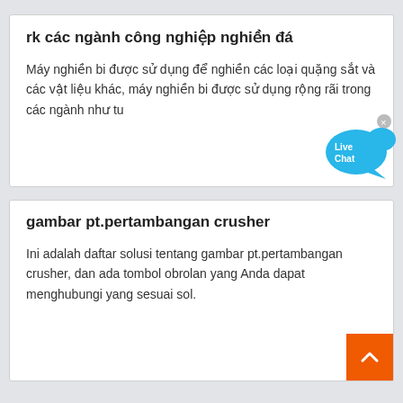rk các ngành công nghiệp nghiền đá
Máy nghiền bi được sử dụng để nghiền các loại quặng sắt và các vật liệu khác, máy nghiền bi được sử dụng rộng rãi trong các ngành như tu
gambar pt.pertambangan crusher
Ini adalah daftar solusi tentang gambar pt.pertambangan crusher, dan ada tombol obrolan yang Anda dapat menghubungi yang sesuai sol.